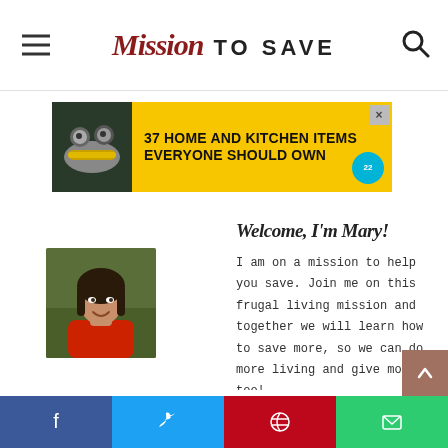Mission TO SAVE
[Figure (infographic): Advertisement banner: '37 HOME AND KITCHEN ITEMS EVERYONE SHOULD OWN' on yellow background with food image on left and circular badge on right]
[Figure (photo): Portrait photo of Mary, a woman with dark hair wearing a red top, shown from shoulders up]
Welcome, I'm Mary!
I am on a mission to help you save. Join me on this frugal living mission and together we will learn how to save more, so we can do more living and give more too!
Social sharing bar: Facebook, Twitter, Pinterest, Email